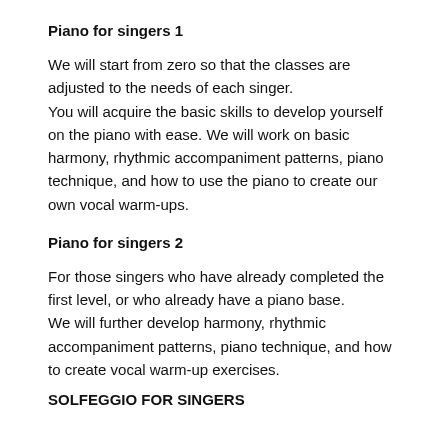Piano for singers 1
We will start from zero so that the classes are adjusted to the needs of each singer.
You will acquire the basic skills to develop yourself on the piano with ease. We will work on basic harmony, rhythmic accompaniment patterns, piano technique, and how to use the piano to create our own vocal warm-ups.
Piano for singers 2
For those singers who have already completed the first level, or who already have a piano base.
We will further develop harmony, rhythmic accompaniment patterns, piano technique, and how to create vocal warm-up exercises.
SOLFEGGIO FOR SINGERS